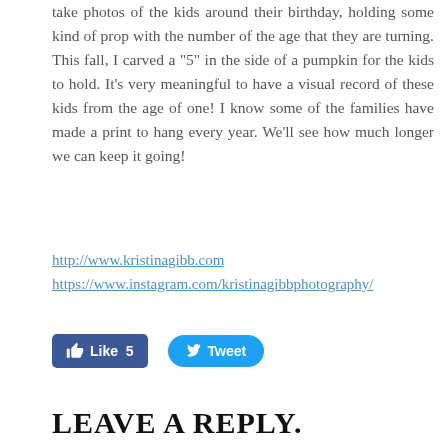take photos of the kids around their birthday, holding some kind of prop with the number of the age that they are turning. This fall, I carved a "5" in the side of a pumpkin for the kids to hold. It's very meaningful to have a visual record of these kids from the age of one! I know some of the families have made a print to hang every year. We'll see how much longer we can keep it going!
http://www.kristinagibb.com
https://www.instagram.com/kristinagibbphotography/
[Figure (other): Facebook Like button showing count of 5, and Twitter Tweet button]
LEAVE A REPLY.